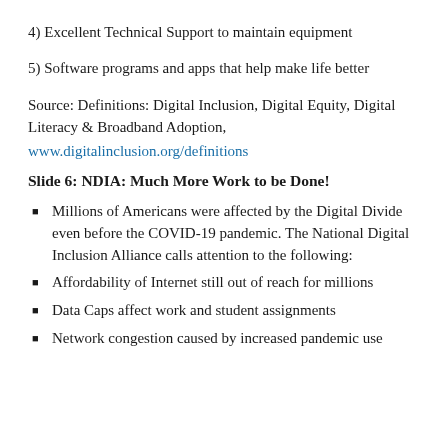4) Excellent Technical Support to maintain equipment
5) Software programs and apps that help make life better
Source: Definitions: Digital Inclusion, Digital Equity, Digital Literacy & Broadband Adoption,
www.digitalinclusion.org/definitions
Slide 6: NDIA: Much More Work to be Done!
Millions of Americans were affected by the Digital Divide even before the COVID-19 pandemic. The National Digital Inclusion Alliance calls attention to the following:
Affordability of Internet still out of reach for millions
Data Caps affect work and student assignments
Network congestion caused by increased pandemic use